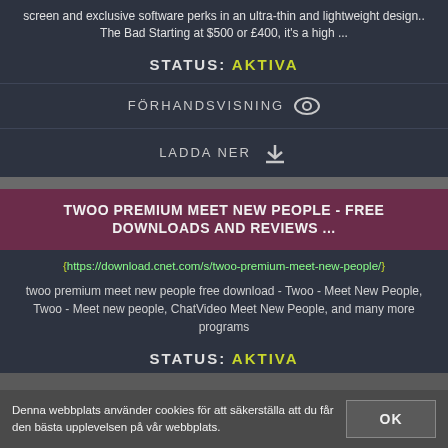screen and exclusive software perks in an ultra-thin and lightweight design.. The Bad Starting at $500 or £400, it's a high ...
STATUS: AKTIVA
FÖRHANDSVISNING
LADDA NER
TWOO PREMIUM MEET NEW PEOPLE - FREE DOWNLOADS AND REVIEWS ...
https://download.cnet.com/s/twoo-premium-meet-new-people/
twoo premium meet new people free download - Twoo - Meet New People, Twoo - Meet new people, ChatVideo Meet New People, and many more programs
STATUS: AKTIVA
Denna webbplats använder cookies för att säkerställa att du får den bästa upplevelsen på vår webbplats.